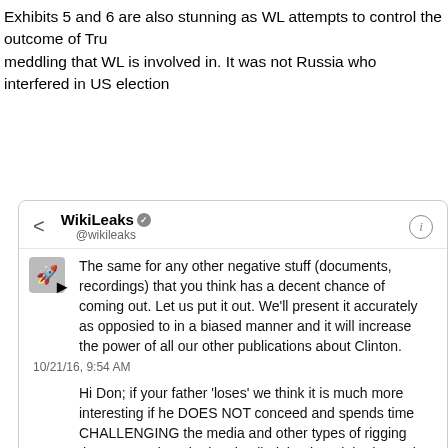Exhibits 5 and 6 are also stunning as WL attempts to control the outcome of Trump meddling that WL is involved in. It was not Russia who interfered in US elections
[Figure (screenshot): Screenshot of a WikiLeaks Twitter/DM interface showing two messages. Header shows WikiLeaks @wikileaks with back arrow and info icon. First message: 'The same for any other negative stuff (documents, recordings) that you think has a decent chance of coming out. Let us put it out. We'll present it accurately as opposied to in a biased manner and it will increase the power of all our other publications about Clinton.' Timestamp 10/21/16, 9:54 AM. Second message: 'Hi Don; if your father 'loses' we think it is much more interesting if he DOES NOT conceed and spends time CHALLENGING the media and other types of rigging that occurred--as he has implied that he might do. He is also much more likely to keep his base alive and energised this way and if he is going to start a new network, showing how corrupt the old ones']